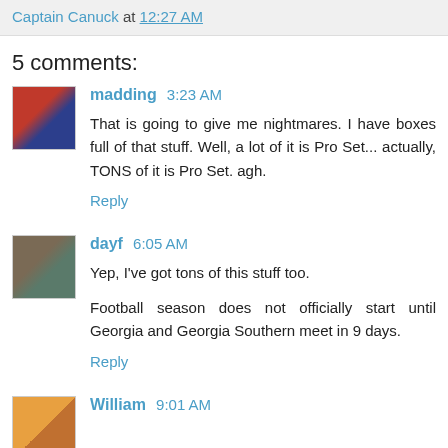Captain Canuck at 12:27 AM
5 comments:
madding 3:23 AM
That is going to give me nightmares. I have boxes full of that stuff. Well, a lot of it is Pro Set... actually, TONS of it is Pro Set. agh.
Reply
dayf 6:05 AM
Yep, I've got tons of this stuff too.
Football season does not officially start until Georgia and Georgia Southern meet in 9 days.
Reply
William 9:01 AM